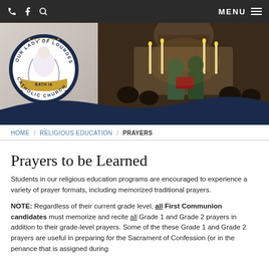Navigation bar with phone, Facebook, search icons and MENU button
[Figure (photo): Our Lady of Lourdes Catholic Church header banner with circular logo/seal on left and photo of Mass celebration with priest at altar on right, dark navy wave overlay at bottom]
HOME / RELIGIOUS EDUCATION / PRAYERS
Prayers to be Learned
Students in our religious education programs are encouraged to experience a variety of prayer formats, including memorized traditional prayers.
NOTE: Regardless of their current grade level, all First Communion candidates must memorize and recite all Grade 1 and Grade 2 prayers in addition to their grade-level prayers. Some of the these Grade 1 and Grade 2 prayers are useful in preparing for the Sacrament of Confession (or in the penance that is assigned during